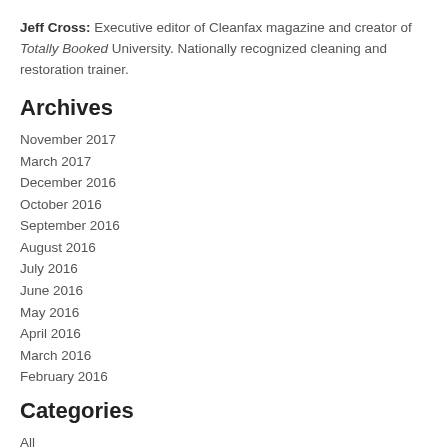Jeff Cross: Executive editor of Cleanfax magazine and creator of Totally Booked University. Nationally recognized cleaning and restoration trainer.
Archives
November 2017
March 2017
December 2016
October 2016
September 2016
August 2016
July 2016
June 2016
May 2016
April 2016
March 2016
February 2016
Categories
All